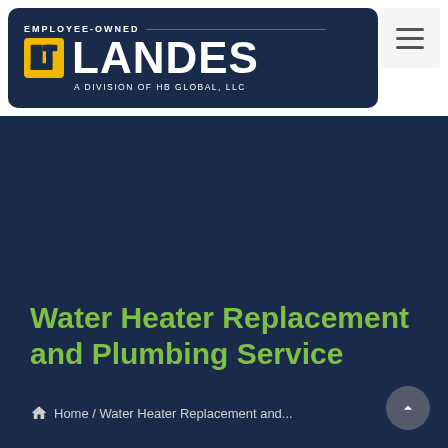[Figure (logo): Landes logo — Employee-Owned, A Division of HB Global, LLC — dark navy rounded rectangle with yellow LT icon and white LANDES text]
Water Heater Replacement and Plumbing Service
Home / Water Heater Replacement and...